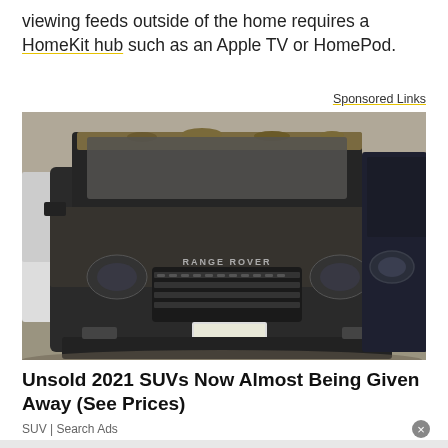Viewing feeds outside of the home requires a HomeKit hub such as an Apple TV or HomePod.
Sponsored Links
[Figure (photo): Photo of a dusty dark Range Rover SUV parked next to another dark SUV, both covered in mud/dust, photographed from a low front angle.]
Unsold 2021 SUVs Now Almost Being Given Away (See Prices)
SUV | Search Ads